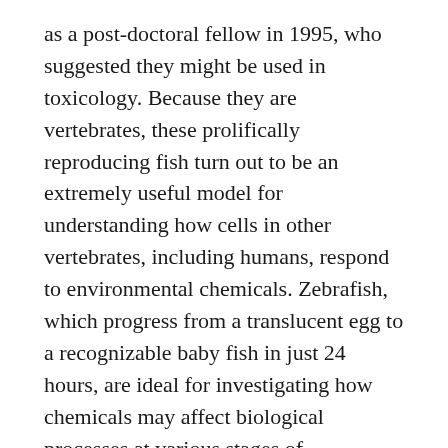as a post-doctoral fellow in 1995, who suggested they might be used in toxicology. Because they are vertebrates, these prolifically reproducing fish turn out to be an extremely useful model for understanding how cells in other vertebrates, including humans, respond to environmental chemicals. Zebrafish, which progress from a translucent egg to a recognizable baby fish in just 24 hours, are ideal for investigating how chemicals may affect biological processes at various stages of development.
Because zebrafish eggs develop outside the mother, they can be manipulated, and Tanguay's lab has devised equipment and techniques for isolating the eggs to examine the effects of chemicals. In one lab, Tanguay showed me a petri dish containing translucent zebrafish eggs, no bigger than a poppy seed, and the thread-fine, glass needles used to extract genetic material. Tanguay's researchers use that material to determine which base